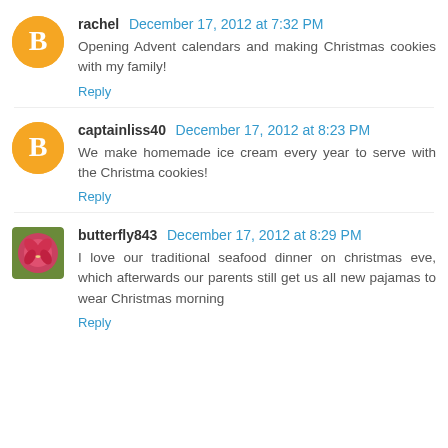rachel December 17, 2012 at 7:32 PM
Opening Advent calendars and making Christmas cookies with my family!
Reply
captainliss40 December 17, 2012 at 8:23 PM
We make homemade ice cream every year to serve with the Christma cookies!
Reply
butterfly843 December 17, 2012 at 8:29 PM
I love our traditional seafood dinner on christmas eve, which afterwards our parents still get us all new pajamas to wear Christmas morning
Reply